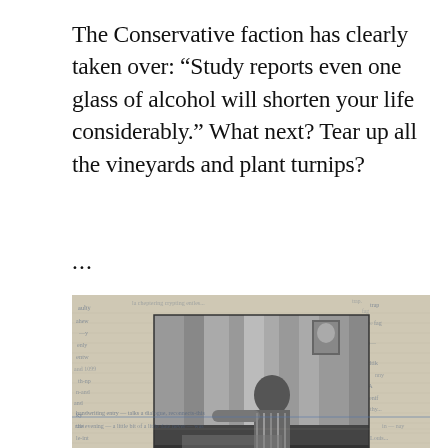The Conservative faction has clearly taken over: “Study reports even one glass of alcohol will shorten your life considerably.” What next? Tear up all the vineyards and plant turnips?
...
[Figure (photo): A photograph of a handwritten journal or notebook page with a black-and-white photograph pasted onto it. The photo shows a person seated, possibly at a desk, in what appears to be an interior room with curtains and a portrait on the wall. Handwritten text in blue ink appears on the journal page surrounding the photo. The bottom of the image shows additional handwritten text lines.]